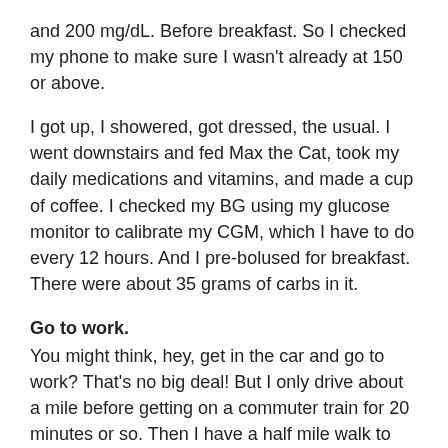and 200 mg/dL. Before breakfast. So I checked my phone to make sure I wasn't already at 150 or above.
I got up, I showered, got dressed, the usual. I went downstairs and fed Max the Cat, took my daily medications and vitamins, and made a cup of coffee. I checked my BG using my glucose monitor to calibrate my CGM, which I have to do every 12 hours. And I pre-bolused for breakfast. There were about 35 grams of carbs in it.
Go to work.
You might think, hey, get in the car and go to work? That's no big deal! But I only drive about a mile before getting on a commuter train for 20 minutes or so. Then I have a half mile walk to the office.